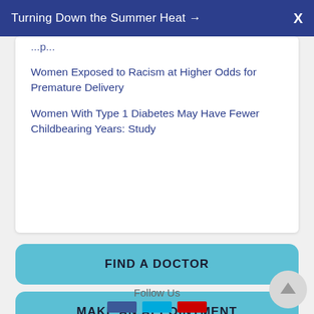Turning Down the Summer Heat →   X
...partially visible link text (truncated)
Women Exposed to Racism at Higher Odds for Premature Delivery
Women With Type 1 Diabetes May Have Fewer Childbearing Years: Study
FIND A DOCTOR
MAKE AN APPOINTMENT
BOOK ONLINE
Follow Us